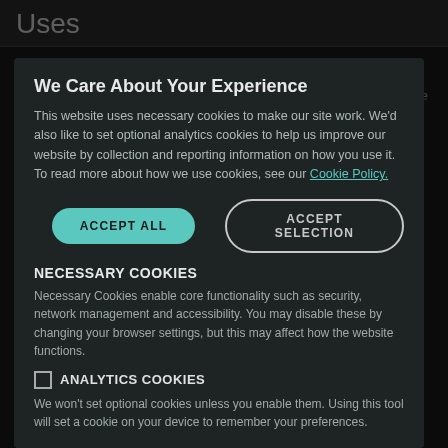Uses
SINTA® M2219 may be used as an alternative to light-gage welded-wire reinforcement in applications where decreased plastic shrinkage cracking and improved durability are desired. Specifically, such applications include but are not limited to, slabs on grade, pavements, overlays, sloped walls, pools, shotcrete and precast and prestressed products. It is suggested that this product be used in conjunction with properly compacted base materials and jointing in accordance with...
Addition Rates
SINTA® M2219 may be added to concrete at any point during the batching or mixing process. SINTA® M2219 may be added...
We Care About Your Experience
This website uses necessary cookies to make our site work. We'd also like to set optional analytics cookies to help us improve our website by collection and reporting information on how you use it. To read more about how we use cookies, see our Cookie Policy.
ACCEPT ALL
ACCEPT SELECTION
NECESSARY COOKIES
Necessary Cookies enable core functionality such as security, network management and accessibility. You may disable these by changing your browser settings, but this may affect how the website functions.
ANALYTICS COOKIES
We won't set optional cookies unless you enable them. Using this tool will set a cookie on your device to remember your preferences.